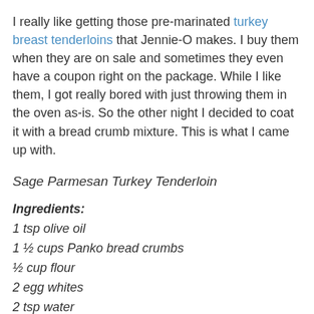I really like getting those pre-marinated turkey breast tenderloins that Jennie-O makes. I buy them when they are on sale and sometimes they even have a coupon right on the package. While I like them, I got really bored with just throwing them in the oven as-is. So the other night I decided to coat it with a bread crumb mixture. This is what I came up with.
Sage Parmesan Turkey Tenderloin
Ingredients:
1 tsp olive oil
1 ½ cups Panko bread crumbs
½ cup flour
2 egg whites
2 tsp water
¼ cup grated parmesan
2 tsp dried sage
15 oz. pre-marinated turkey breast tenderloin (any flavor